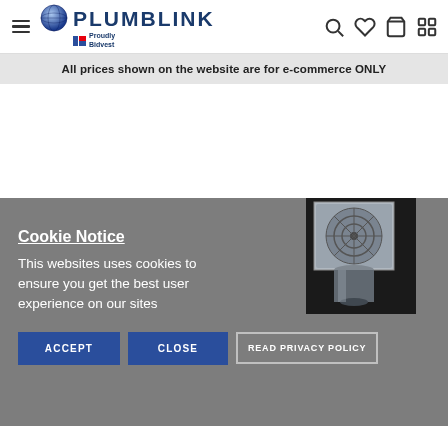Plumblink - Proudly Bidvest
All prices shown on the website are for e-commerce ONLY
[Figure (photo): Plumbing floor drain/trap product image showing a square grated top and cylindrical drain body]
Cookie Notice
This websites uses cookies to ensure you get the best user experience on our sites
ACCEPT
CLOSE
READ PRIVACY POLICY